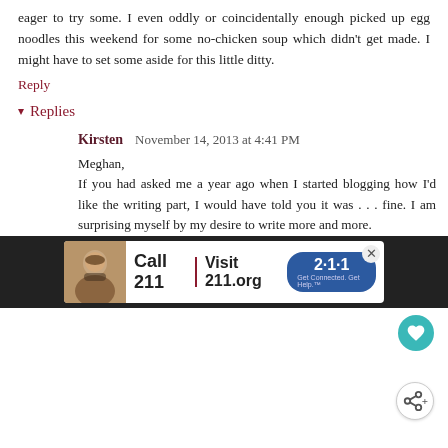eager to try some. I even oddly or coincidentally enough picked up egg noodles this weekend for some no-chicken soup which didn't get made. I might have to set some aside for this little ditty.
Reply
Replies
Kirsten  November 14, 2013 at 4:41 PM
Meghan,
If you had asked me a year ago when I started blogging how I'd like the writing part, I would have told you it was . . . fine. I am surprising myself by my desire to write more and more.
Who knew?!
Thanks!
Reply
[Figure (infographic): Advertisement banner: Call 211 | Visit 211.org with 2-1-1 badge logo and woman on phone photo]